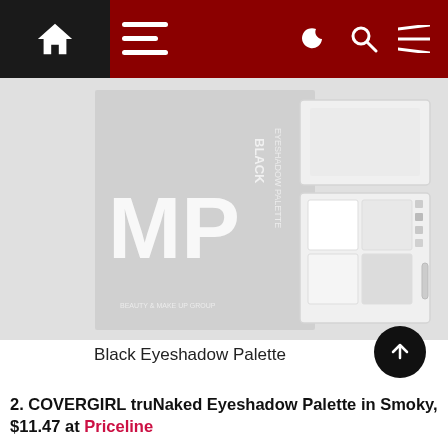Navigation bar with home, menu, night mode, search, and hamburger icons
[Figure (photo): MP Black Eyeshadow Palette product photo — open palette showing multiple eyeshadow pans in a clear/white case, set against a light grey background with 'MP BLACK EYESHADOW PALETTE' text on the left side.]
Black Eyeshadow Palette
2. COVERGIRL truNaked Eyeshadow Palette in Smoky, $11.47 at Priceline